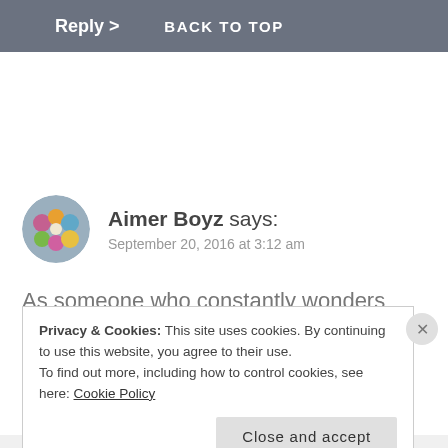Reply > BACK TO TOP
[Figure (photo): Circular avatar photo of commenter Aimer Boyz showing colorful flowers/objects]
Aimer Boyz says: September 20, 2016 at 3:12 am
As someone who constantly wonders “what’s the point, we all end up dead anyway” , I wish you the
Privacy & Cookies: This site uses cookies. By continuing to use this website, you agree to their use.
To find out more, including how to control cookies, see here: Cookie Policy
Close and accept